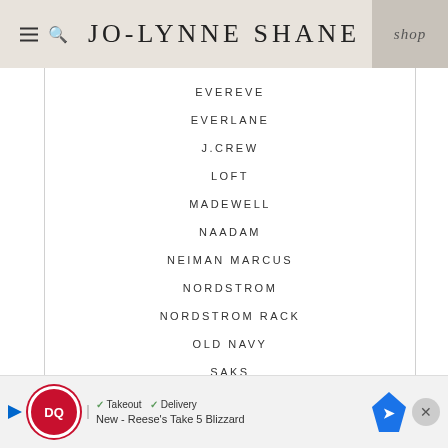JO-LYNNE SHANE
EVEREVE
EVERLANE
J.CREW
LOFT
MADEWELL
NAADAM
NEIMAN MARCUS
NORDSTROM
NORDSTROM RACK
OLD NAVY
SAKS
SEPHORA
SHOPBOP
TALBOTS
ULTA
VUORI